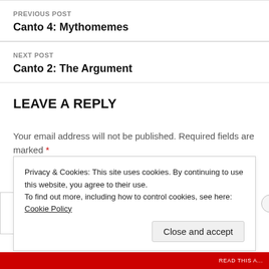PREVIOUS POST
Canto 4: Mythomemes
NEXT POST
Canto 2: The Argument
LEAVE A REPLY
Your email address will not be published. Required fields are marked *
Privacy & Cookies: This site uses cookies. By continuing to use this website, you agree to their use.
To find out more, including how to control cookies, see here: Cookie Policy